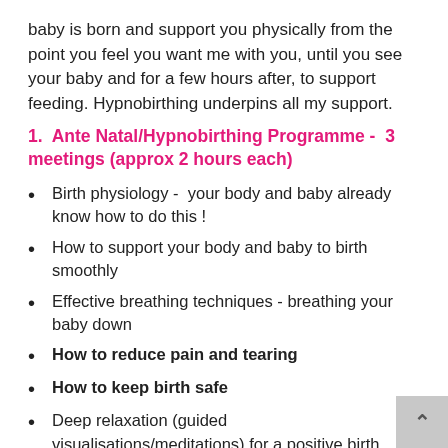baby is born and support you physically from the point you feel you want me with you, until you see your baby and for a few hours after, to support feeding. Hypnobirthing underpins all my support.
1.  Ante Natal/Hypnobirthing Programme -  3 meetings (approx 2 hours each)
Birth physiology -  your body and baby already know how to do this !
How to support your body and baby to birth smoothly
Effective breathing techniques - breathing your baby down
How to reduce pain and tearing
How to keep birth safe
Deep relaxation (guided visualisations/meditations) for a positive birth
Create confident, positive, informed birth plans - covering all your options